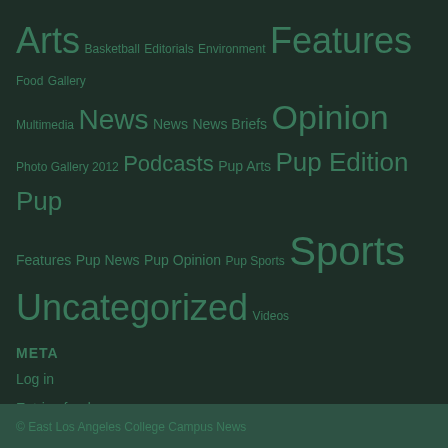Arts Basketball Editorials Environment Features Food Gallery Multimedia News News News Briefs Opinion Photo Gallery 2012 Podcasts Pup Arts Pup Edition Pup Features Pup News Pup Opinion Pup Sports Sports Uncategorized Videos
META
Log in
Entries feed
Comments feed
WordPress.org
© East Los Angeles College Campus News